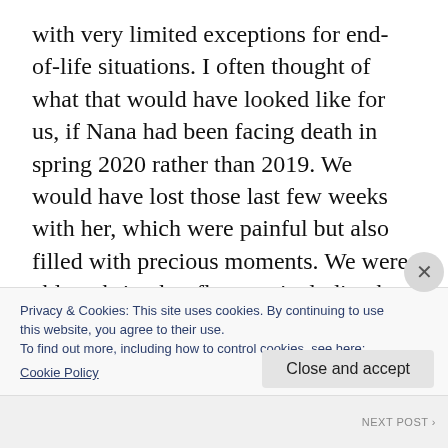with very limited exceptions for end-of-life situations. I often thought of what that would have looked like for us, if Nana had been facing death in spring 2020 rather than 2019. We would have lost those last few weeks with her, which were painful but also filled with precious moments. We were able to bring her flowers, including her beloved lilies-of-the-valley which blossom in May, just in time for Mother's Day and her birthday. One of the last things she was able to eat was a little fruit tart I
Privacy & Cookies: This site uses cookies. By continuing to use this website, you agree to their use.
To find out more, including how to control cookies, see here:
Cookie Policy
Close and accept